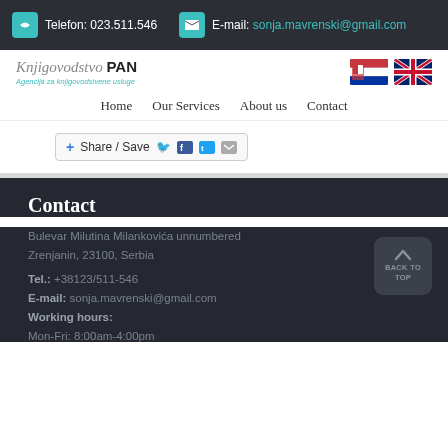Telefon: 023.511.546   E-mail: sonja.mavrenski@gmail.com
[Figure (logo): Knjigovodstvo PAN logo with Serbian and UK flags]
Home   Our Services   About us   Contact
Share / Save
Contact
Bulevar Milutina Milankovića unnumbered
Zrenjanin, 23100, Serbia
Tel.: +38123/511-546
E-mail: sonja.mavrenski@gmail.com
Working hours:
Mon-Fri: 8:00am-4:00pm